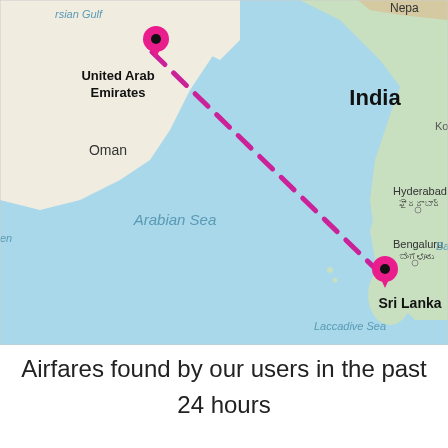[Figure (map): A map showing the Arabian Sea region with a pink dashed line connecting United Arab Emirates (UAE, marked with a pink location pin) to Sri Lanka (marked with a pink location pin). The map shows India, Oman, the Arabian Sea, Laccadive Sea, Mumbai, Hyderabad, Bengaluru, Nepal, and other geographic labels. The route travels diagonally from UAE in the upper left to Sri Lanka in the lower right.]
Airfares found by our users in the past 24 hours